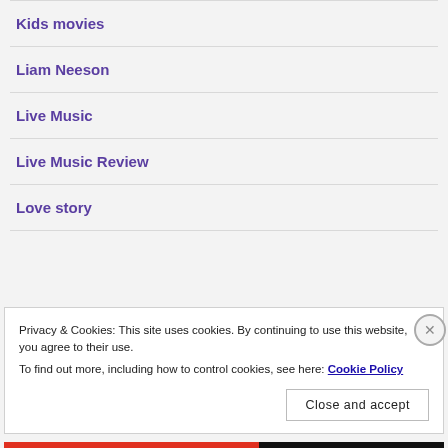Kids movies
Liam Neeson
Live Music
Live Music Review
Love story
Privacy & Cookies: This site uses cookies. By continuing to use this website, you agree to their use.
To find out more, including how to control cookies, see here: Cookie Policy
Close and accept